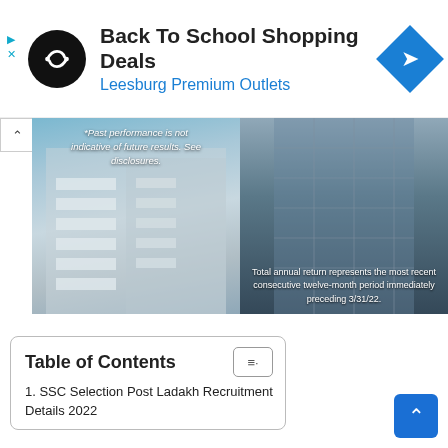[Figure (screenshot): Advertisement banner for 'Back To School Shopping Deals' at Leesburg Premium Outlets with a circular logo and blue navigation icon]
[Figure (photo): Two side-by-side photos of modern high-rise buildings. Left photo has overlay text: '*Past performance is not indicative of future results. See disclosures.' Right photo has overlay text: 'Total annual return represents the most recent consecutive twelve-month period immediately preceding 3/31/22.']
Table of Contents
1. SSC Selection Post Ladakh Recruitment Details 2022